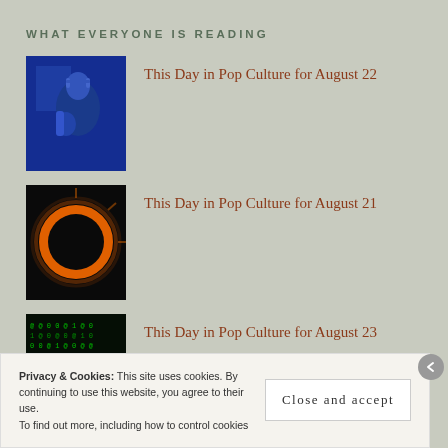WHAT EVERYONE IS READING
[Figure (photo): Blue-tinted vintage photo of a woman holding something, indoors]
This Day in Pop Culture for August 22
[Figure (photo): Solar eclipse — glowing orange ring against black background]
This Day in Pop Culture for August 21
[Figure (photo): Green matrix-style digital characters and symbols on black]
This Day in Pop Culture for August 23
Privacy & Cookies: This site uses cookies. By continuing to use this website, you agree to their use.
To find out more, including how to control cookies